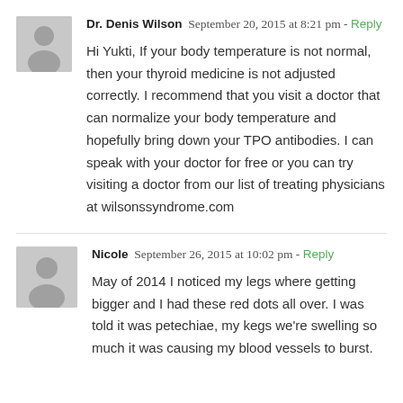Dr. Denis Wilson  September 20, 2015 at 8:21 pm - Reply
Hi Yukti, If your body temperature is not normal, then your thyroid medicine is not adjusted correctly. I recommend that you visit a doctor that can normalize your body temperature and hopefully bring down your TPO antibodies. I can speak with your doctor for free or you can try visiting a doctor from our list of treating physicians at wilsonssyndrome.com
Nicole  September 26, 2015 at 10:02 pm - Reply
May of 2014 I noticed my legs where getting bigger and I had these red dots all over. I was told it was petechiae, my kegs we're swelling so much it was causing my blood vessels to burst. From there it had gone on and it'll done of 5...